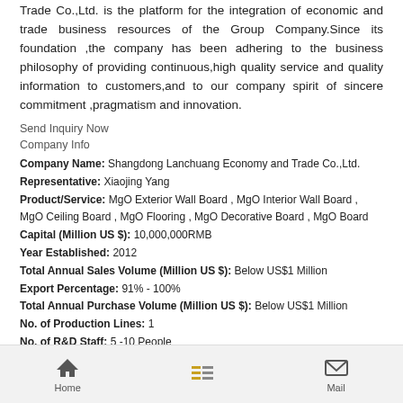Trade Co.,Ltd. is the platform for the integration of economic and trade business resources of the Group Company.Since its foundation ,the company has been adhering to the business philosophy of providing continuous,high quality service and quality information to customers,and to our company spirit of sincere commitment ,pragmatism and innovation.
Send Inquiry Now
Company Info
Company Name: Shangdong Lanchuang Economy and Trade Co.,Ltd.
Representative: Xiaojing Yang
Product/Service: MgO Exterior Wall Board , MgO Interior Wall Board , MgO Ceiling Board , MgO Flooring , MgO Decorative Board , MgO Board
Capital (Million US $): 10,000,000RMB
Year Established: 2012
Total Annual Sales Volume (Million US $): Below US$1 Million
Export Percentage: 91% - 100%
Total Annual Purchase Volume (Million US $): Below US$1 Million
No. of Production Lines: 1
No. of R&D Staff: 5 -10 People
No. of QC Staff: 5 -10 People
OEM Services Provided: yes
Factory Size (Sq.meters): 30,000-50,000 square meters
Factory Location: Jiangsu Province,China
Home   Mail